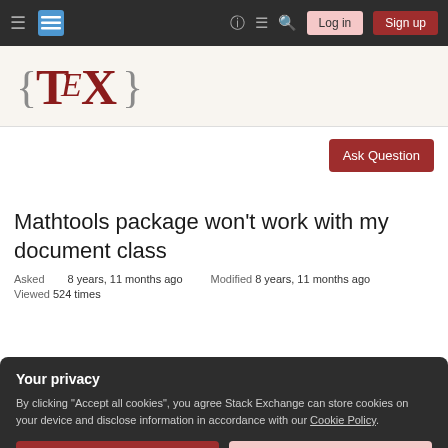≡  [Stack Exchange logo]  ?  ≡  🔍  Log in  Sign up
[Figure (logo): TeX Stack Exchange logo with curly braces and TeX text in dark red]
Ask Question
Mathtools package won't work with my document class
Asked 8 years, 11 months ago   Modified 8 years, 11 months ago
Viewed 524 times
Your privacy
By clicking "Accept all cookies", you agree Stack Exchange can store cookies on your device and disclose information in accordance with our Cookie Policy.
Accept all cookies   Customize settings
be found here.)